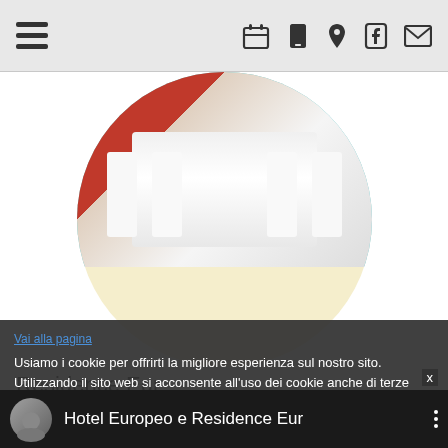[Figure (screenshot): Mobile website navigation bar with hamburger menu icon on left and icons (calendar, phone, location pin, Facebook, email) on right]
[Figure (photo): Circular cropped photo of a white dining table and chairs in a bright kitchen with red cabinets, set against a cyan/light blue top and cream/yellow bottom circle background]
Residence Eur
Le più belle giornate per la tua famiglia! Gli appartamenti del Residence Eur ti aspettano per una vacanza indipendente con i vostri bambini.
Usiamo i cookie per offrirti la migliore esperienza sul nostro sito. Utilizzando il sito web si acconsente all'uso dei cookie anche di terze parti. Informativa sui cookies
[Figure (screenshot): Video player bar at bottom showing a man's avatar photo and text 'Hotel Europeo e Residence Eur' with three dots menu icon]